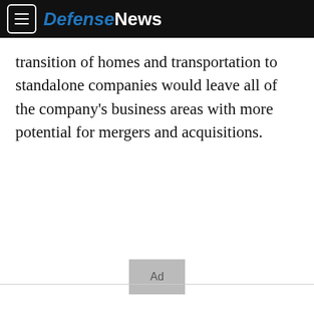DefenseNews
transition of homes and transportation to standalone companies would leave all of the company's business areas with more potential for mergers and acquisitions.
[Figure (other): Ad placeholder box with text 'Ad']